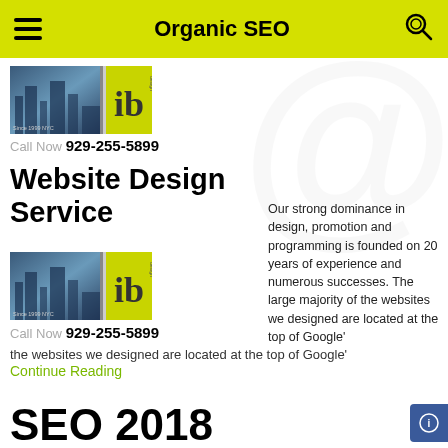Organic SEO
[Figure (logo): IB Design logo with city skyline background and yellow-green right panel showing 'ib' text, 'Since 1999 NYC']
Call Now 929-255-5899
Website Design Service
Our strong dominance in design, promotion and programming is founded on 20 years of experience and numerous successes. The large majority of the websites we designed are located at the top of Google'
[Figure (logo): IB Design logo with city skyline background and yellow-green right panel showing 'ib' text, 'Since 1999 NYC']
Call Now 929-255-5899
Continue Reading
SEO 2018